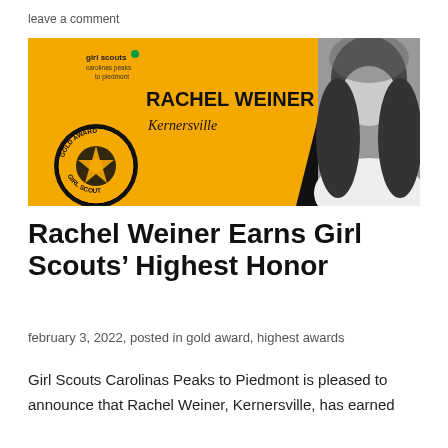leave a comment
[Figure (photo): Girl Scouts Carolinas Peaks to Piedmont Gold Award banner featuring Rachel Weiner from Kernersville, with a Gold Award Girl Scout badge on the left and a black-and-white photo of a young woman on the right against a gold and black background.]
Rachel Weiner Earns Girl Scouts’ Highest Honor
february 3, 2022, posted in gold award, highest awards
Girl Scouts Carolinas Peaks to Piedmont is pleased to announce that Rachel Weiner, Kernersville, has earned